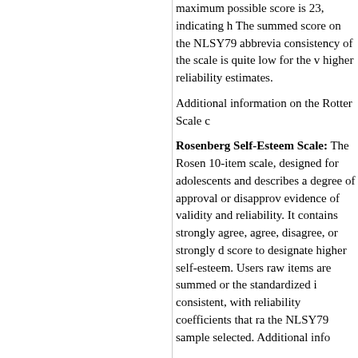maximum possible score is 23, indicating higher reliability estimates. The summed score on the NLSY79 abbrevia... consistency of the scale is quite low for the v... higher reliability estimates.
Additional information on the Rotter Scale ca...
Rosenberg Self-Esteem Scale: The Rosen... 10-item scale, designed for adolescents and... describes a degree of approval or disapprov... evidence of validity and reliability. It contains... strongly agree, agree, disagree, or strongly d... score to designate higher self-esteem. Users... raw items are summed or the standardized i... consistent, with reliability coefficients that ra... the NLSY79 sample selected. Additional info...
Influence of Significant Others: The "On S... of nine variables (OTHER-2 to OTHER-3H) c... certain key career, occupational, residence,... between the ages of 14 and 17 in 1979.
Sociability: In 1985, two questions were as... question (HEALTH-SOC_1) inquired about th... question (HEALTH-SOC_2) asked them to c...
Pearlin Mastery Scale: The Pearlin Mastery... themselves in control of forces that significa... item (PEARLIN-1 to PEARLIN-7) is a statem...